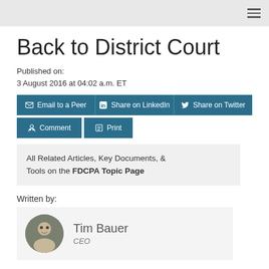Back to District Court
Published on:
3 August 2016 at 04:02 a.m. ET
Email to a Peer | Share on LinkedIn | Share on Twitter | Comment | Print
All Related Articles, Key Documents, & Tools on the FDCPA Topic Page
Written by:
Tim Bauer
CEO